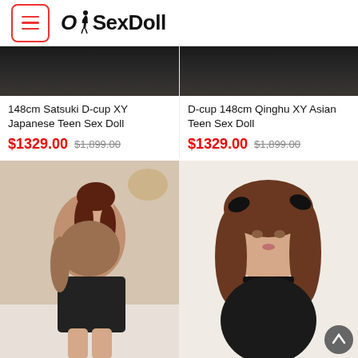OhSexDoll
148cm Satsuki D-cup XY Japanese Teen Sex Doll
$1329.00 $1,899.00
D-cup 148cm Qinghu XY Asian Teen Sex Doll
$1329.00 $1,899.00
[Figure (photo): Product photo of a realistic female doll with brown wavy hair wearing a brown top and black skirt, posed sideways]
[Figure (photo): Product photo of a realistic female doll head with brown hair and black bow accessories, wearing black lace outfit]